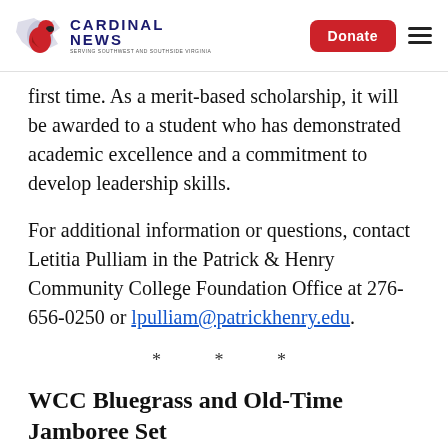Cardinal News | Donate
first time. As a merit-based scholarship, it will be awarded to a student who has demonstrated academic excellence and a commitment to develop leadership skills.
For additional information or questions, contact Letitia Pulliam in the Patrick & Henry Community College Foundation Office at 276-656-0250 or lpulliam@patrickhenry.edu.
* * *
WCC Bluegrass and Old-Time Jamboree Set